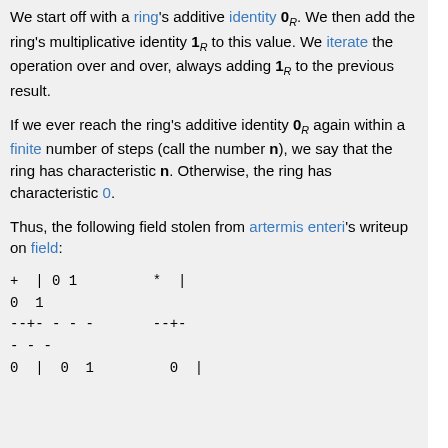We start off with a ring's additive identity 0_R. We then add the ring's multiplicative identity 1_R to this value. We iterate the operation over and over, always adding 1_R to the previous result.
If we ever reach the ring's additive identity 0_R again within a finite number of steps (call the number n), we say that the ring has characteristic n. Otherwise, the ring has characteristic 0.
Thus, the following field stolen from artermis enteri's writeup on field:
| + | | | 0 | 1 |  | * | | | 0 | 1 |
| --- | --- | --- | --- | --- | --- | --- | --- | --- |
| --+---- |  |  |  | --+- | -- |
| 0 | | | 0 | 1 |  | 0 | | |